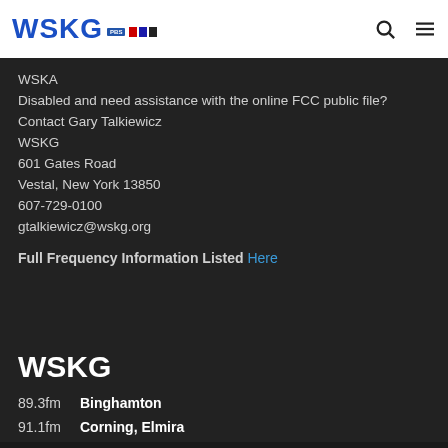WSKG PBS NPR
WSKA
Disabled and need assistance with the online FCC public file?
Contact Gary Talkiewicz
WSKG
601 Gates Road
Vestal, New York 13850
607-729-0100
gtalkiewicz@wskg.org
Full Frequency Information Listed Here
WSKG
89.3fm  Binghamton
91.1fm  Corning, Elmira